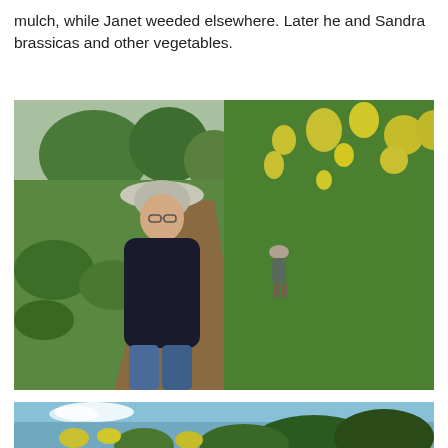mulch, while Janet weeded elsewhere. Later he and Sandra brassicas and other vegetables.
[Figure (photo): A person in a wide-brimmed hat and dark jacket stands on a narrow dirt path flanked by tall yellow-flowering plants (brassicas) and green vegetation. In the background another person stands on the path near trees and a brick building on a sunny day.]
[Figure (photo): Partial view of a garden scene with blue sky, yellow flowers and green trees/shrubs visible at the bottom of the page.]